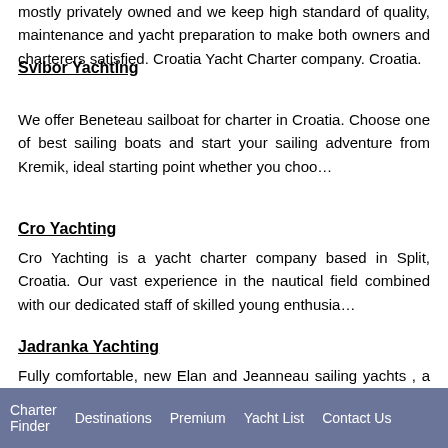mostly privately owned and we keep high standard of quality, maintenance and yacht preparation to make both owners and charterers satisfied. Croatia Yacht Charter company. Croatia.
Svibor Yachting
We offer Beneteau sailboat for charter in Croatia. Choose one of best sailing boats and start your sailing adventure from Kremik, ideal starting point whether you choo…
Cro Yachting
Cro Yachting is a yacht charter company based in Split, Croatia. Our vast experience in the nautical field combined with our dedicated staff of skilled young enthusia…
Jadranka Yachting
Fully comfortable, new Elan and Jeanneau sailing yachts , a pleasant climate, the beauty of Lo�inj coves and the nearby islands of Ilovik, Silba, Olib…
Charter Finder   Destinations   Premium   Yacht List   Contact Us